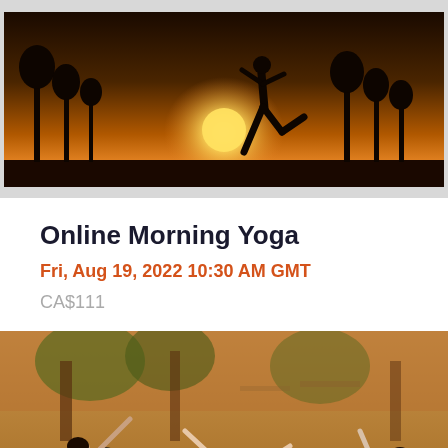[Figure (photo): Silhouette of a person doing yoga/stretching pose against a golden sunset background with trees]
Online Morning Yoga
Fri, Aug 19, 2022 10:30 AM GMT
CA$111
[Figure (photo): Three women doing yoga side stretch poses on purple mats outdoors on a dry grassy field with trees in the background]